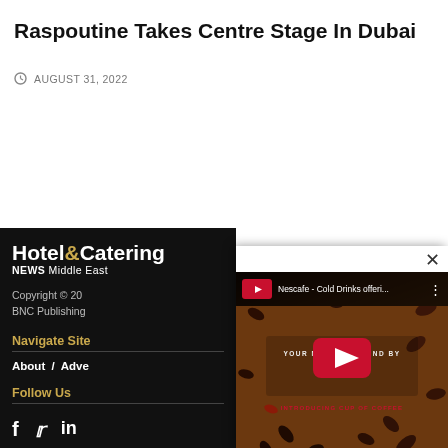Raspoutine Takes Centre Stage In Dubai
AUGUST 31, 2022
[Figure (logo): Hotel & Catering NEWS Middle East logo — white text on black background]
Copyright © 20
BNC Publishing
Navigate Site
About / Adve
Follow Us
[Figure (screenshot): YouTube video player overlay showing Nescafe - Cold Drinks offeri... video thumbnail with coffee beans on wooden table background, YouTube play button, and channel logo. Title bar reads: Nescafe - Cold Drinks offeri... with Hotel&Catering logo and three-dot menu. Center text: YOUR MONTHLY GRIND BY N[ESCAFE] and INTRODUCING [NEW CUP] OF COFFEE]